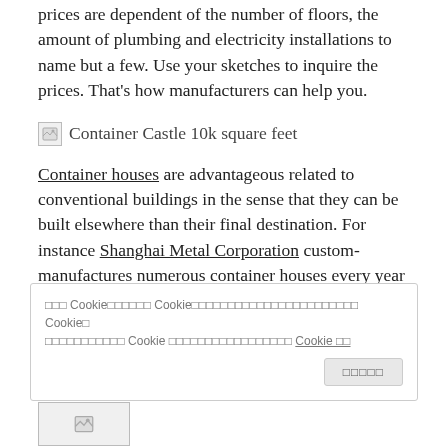prices are dependent of the number of floors, the amount of plumbing and electricity installations to name but a few. Use your sketches to inquire the prices. That's how manufacturers can help you.
[Figure (photo): Broken image placeholder labeled 'Container Castle 10k square feet']
Container houses are advantageous related to conventional buildings in the sense that they can be built elsewhere than their final destination. For instance Shanghai Metal Corporation custom-manufactures numerous container houses every year and ships them worldwide. You can submit your inquiries and sketches in our Facebook page by
Cookie banner: 위 Cookie설정에서의 Cookie사용에 동의합니다. 이 사이트에서는 Cookie를 사용하고 있습니다. 이러한 Cookie에 대한 자세한 내용은 Cookie 정책에서 확인하세요. Cookie 정책
[Figure (photo): Broken image placeholder at bottom left]